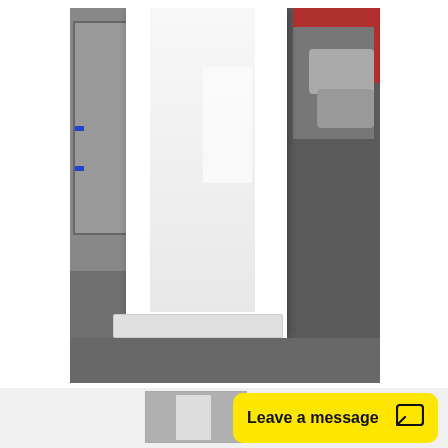[Figure (photo): A white shower stall/unit with base pan displayed outdoors on a concrete floor, with a gray industrial building door on the left and parked vehicles visible on the right. The shower unit is white acrylic/fiberglass with a rectangular base.]
[Figure (photo): Small thumbnail image of the same or similar white shower unit.]
Leave a message